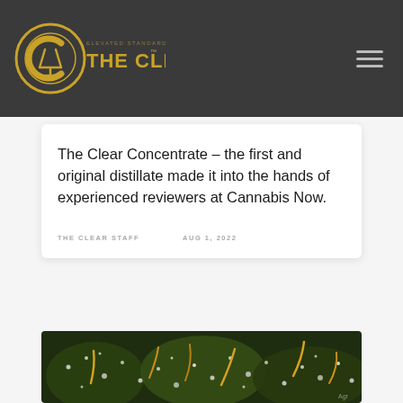THE CLEAR
The Clear Concentrate – the first and original distillate made it into the hands of experienced reviewers at Cannabis Now.
THE CLEAR STAFF
AUG 1, 2022
[Figure (photo): Close-up macro photo of cannabis buds covered in trichomes with yellow/orange pistils against green background]